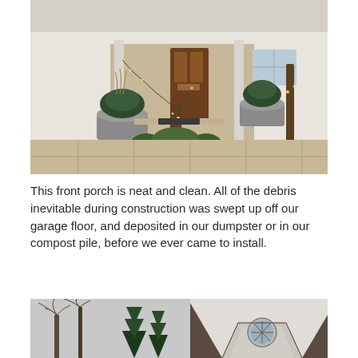[Figure (photo): Front porch of a house with manicured boxwood shrubs surrounding tree trunks with fairy lights, large gray planters, stone paving, and a wooden front door.]
This front porch is neat and clean. All of the debris inevitable during construction was swept up off our garage floor, and deposited in our dumpster or in our compost pile, before we ever came to install.
[Figure (photo): Exterior view of a house showing bare winter trees, evergreen trees, and a dormer with a round window on a stucco facade with dark roof.]